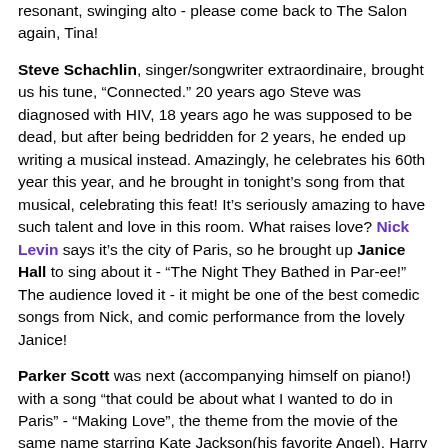resonant, swinging alto - please come back to The Salon again, Tina!
Steve Schachlin, singer/songwriter extraordinaire, brought us his tune, “Connected.” 20 years ago Steve was diagnosed with HIV, 18 years ago he was supposed to be dead, but after being bedridden for 2 years, he ended up writing a musical instead. Amazingly, he celebrates his 60th year this year, and he brought in tonight’s song from that musical, celebrating this feat! It’s seriously amazing to have such talent and love in this room. What raises love? Nick Levin says it’s the city of Paris, so he brought up Janice Hall to sing about it - “The Night They Bathed in Par-ee!” The audience loved it - it might be one of the best comedic songs from Nick, and comic performance from the lovely Janice!
Parker Scott was next (accompanying himself on piano!) with a song “that could be about what I wanted to do in Paris” - “Making Love”, the theme from the movie of the same name starring Kate Jackson(his favorite Angel), Harry Hamlin and Michael Ontkean. I loved the simplicity of Parker’s song as he played the piano. Fabulous! He’s bringing his hit show to The Monroe’s. Done. Done.